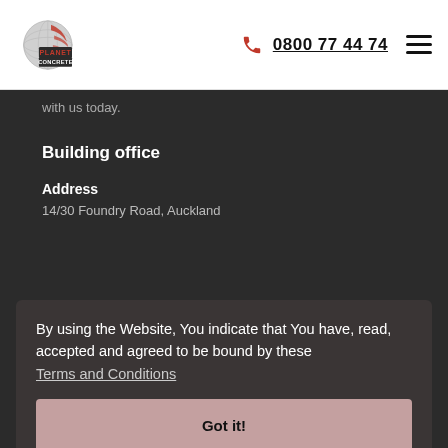[Figure (logo): Planet Concrete logo with globe and text 'PLANET CONCRETE']
0800 77 44 74
with us today.
Building office
Address
14/30 Foundry Road, Auckland
E-mail
sales@planetgroup.co.nz
By using the Website, You indicate that You have, read, accepted and agreed to be bound by these Terms and Conditions
Phone
0800 77 44 74
Got it!